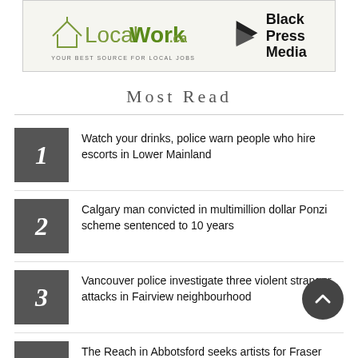[Figure (logo): Advertisement banner with LocalWork.ca logo and Black Press Media logo]
Most Read
Watch your drinks, police warn people who hire escorts in Lower Mainland
Calgary man convicted in multimillion dollar Ponzi scheme sentenced to 10 years
Vancouver police investigate three violent stranger attacks in Fairview neighbourhood
The Reach in Abbotsford seeks artists for Fraser Valley Biennial
Currents, depth continue to hamper fuel spill response near Victoria